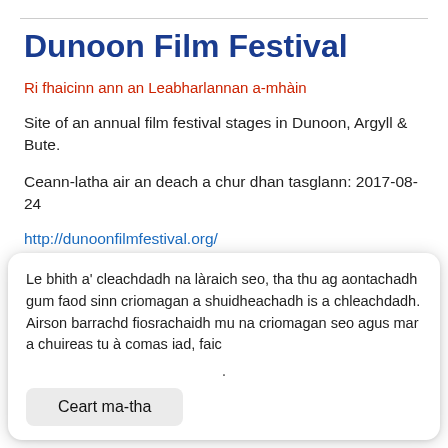Dunoon Film Festival
Ri fhaicinn ann an Leabharlannan a-mhàin
Site of an annual film festival stages in Dunoon, Argyll & Bute.
Ceann-latha air an deach a chur dhan tasglann: 2017-08-24
http://dunoonfilmfestival.org/
Le bhith a' cleachdadh na làraich seo, tha thu ag aontachadh gum faod sinn criomagan a shuidheachadh is a chleachdadh. Airson barrachd fiosrachaidh mu na criomagan seo agus mar a chuireas tu à comas iad, faic
Ceart ma-tha